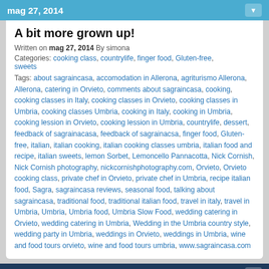mag 27, 2014
A bit more grown up!
Written on mag 27, 2014 By simona
Categories: cooking class, countrylife, finger food, Gluten-free, sweets
Tags: about sagraincasa, accomodation in Allerona, agriturismo Allerona, Allerona, catering in Orvieto, comments about sagraincasa, cooking, cooking classes in Italy, cooking classes in Orvieto, cooking classes in Umbria, cooking classes Umbria, cooking in Italy, cooking in Umbria, cooking lession in Orvieto, cooking lession in Umbria, countrylife, dessert, feedback of sagrainacasa, feedback of sagrainacsa, finger food, Gluten-free, italian, italian cooking, italian cooking classes umbria, italian food and recipe, italian sweets, lemon Sorbet, Lemoncello Pannacotta, Nick Cornish, Nick Cornish photography, nickcornishphotography.com, Orvieto, Orvieto cooking class, private chef in Orvieto, private chef in Umbria, recipe italian food, Sagra, sagraincasa reviews, seasonal food, talking about sagraincasa, traditional food, traditional italian food, travel in italy, travel in Umbria, Umbria, Umbria food, Umbria Slow Food, wedding catering in Orvieto, wedding catering in Umbria, Wedding in the Umbria country style, wedding party in Umbria, weddings in Orvieto, weddings in Umbria, wine and food tours orvieto, wine and food tours umbria, www.sagraincasa.com
ott 27, 2013
The story came home to roost !
Written on ott 27, 2013 By simona
Categories: cheese, sweets
Tags: about sagraincasa, accomodation in Allerona, agriturismo Allerona, catering in Orvieto, cheesecake, comments about sagraincasa, cooking, cooking classes in Italy, cooking classes in Orvieto, cooking classes in Umbria, cooking classes Umbria, cooking in Italy, cooking lession in Orvieto, cooking lession in Umbria, countrylife, dessert, farm house, feedback of sagrainacsa,